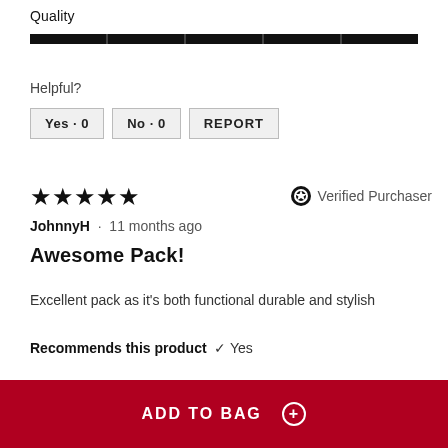Quality
[Figure (other): A full-width dark horizontal progress bar indicating quality rating at maximum (fully filled)]
Helpful?
Yes · 0
No · 0
REPORT
★★★★★  Verified Purchaser
JohnnyH · 11 months ago
Awesome Pack!
Excellent pack as it's both functional durable and stylish
Recommends this product ✔ Yes
ADD TO BAG +